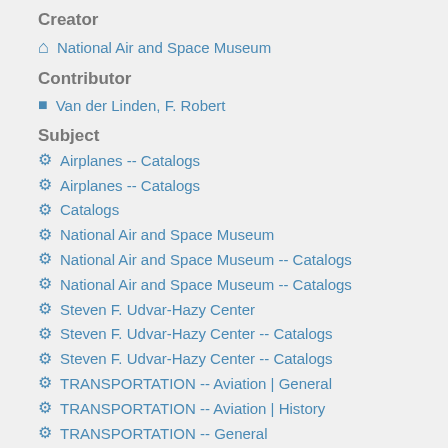Creator
National Air and Space Museum
Contributor
Van der Linden, F. Robert
Subject
Airplanes -- Catalogs
Airplanes -- Catalogs
Catalogs
National Air and Space Museum
National Air and Space Museum -- Catalogs
National Air and Space Museum -- Catalogs
Steven F. Udvar-Hazy Center
Steven F. Udvar-Hazy Center -- Catalogs
Steven F. Udvar-Hazy Center -- Catalogs
TRANSPORTATION -- Aviation | General
TRANSPORTATION -- Aviation | History
TRANSPORTATION -- General